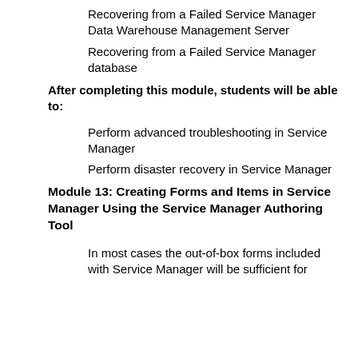Recovering from a Failed Service Manager Data Warehouse Management Server
Recovering from a Failed Service Manager database
After completing this module, students will be able to:
Perform advanced troubleshooting in Service Manager
Perform disaster recovery in Service Manager
Module 13: Creating Forms and Items in Service Manager Using the Service Manager Authoring Tool
In most cases the out-of-box forms included with Service Manager will be sufficient for